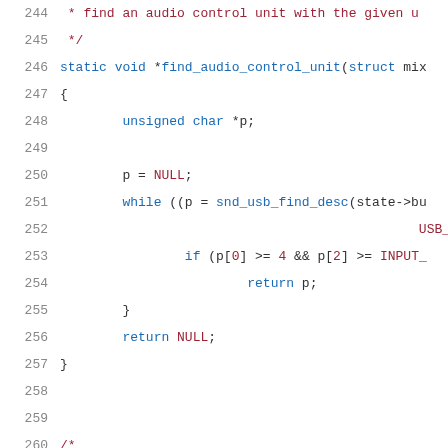[Figure (screenshot): Source code listing in C showing lines 244-265 of a USB audio driver. Syntax highlighted with line numbers on left. Shows find_audio_control_unit and snd_usb_copy_string_desc functions.]